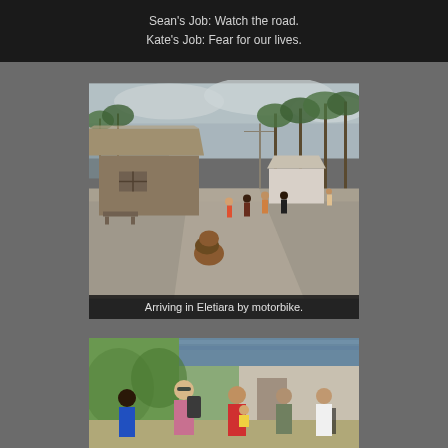Sean's Job: Watch the road.
Kate's Job: Fear for our lives.
[Figure (photo): A village scene in Eletiara showing a thatched-roof building on the left, a gravel road/path, palm trees in the background, and several people walking. The image was taken with a wide-angle lens giving a fisheye-like perspective.]
Arriving in Eletiara by motorbike.
[Figure (photo): A group of people posing outdoors near a building with a corrugated metal roof. A blonde woman in the center is carrying a large backpack. Others around her include locals in colorful clothing.]